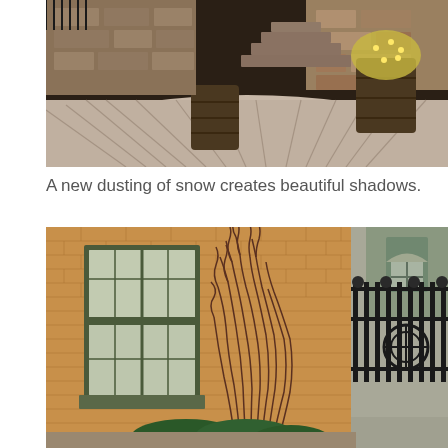[Figure (photo): Outdoor patio with snow dusting, stone steps, wooden barrel planters with lights, and shadow patterns across the snow-covered surface.]
A new dusting of snow creates beautiful shadows.
[Figure (photo): Brick building exterior with a double-hung window with green trim, bare ornamental grasses, decorative iron fence with geometric designs, and a neighboring building with arched dormer window visible in background.]